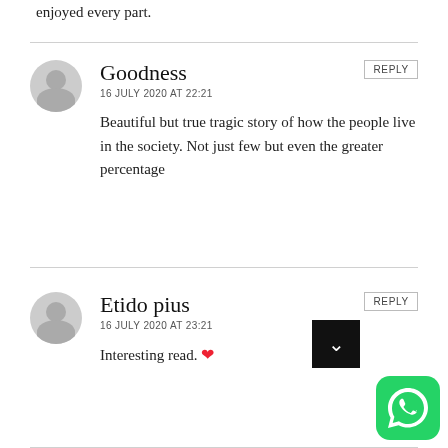enjoyed every part.
Goodness
16 JULY 2020 AT 22:21
Beautiful but true tragic story of how the people live in the society. Not just few but even the greater percentage
Etido pius
16 JULY 2020 AT 23:21
Interesting read. ❤